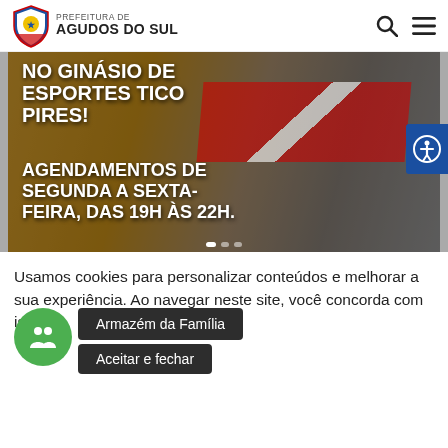PREFEITURA DE AGUDOS DO SUL
[Figure (screenshot): Municipal website banner showing Ginásio de Esportes Tico Pires with text: NO GINÁSIO DE ESPORTES TICO PIRES! AGENDAMENTOS DE SEGUNDA A SEXTA-FEIRA, DAS 19H ÀS 22H.]
Usamos cookies para personalizar conteúdos e melhorar a sua experiência. Ao navegar neste site, você concorda com isso.
Armazém da Família
Aceitar e fechar